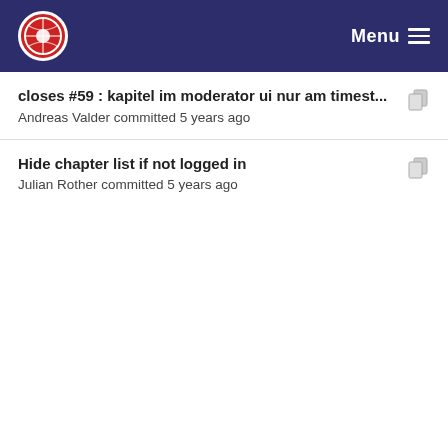Menu
closes #59 : kapitel im moderator ui nur am timest...
Andreas Valder committed 5 years ago
Hide chapter list if not logged in
Julian Rother committed 5 years ago
made the player look better
Andreas Valder committed 5 years ago
added course and lecture title to the player
Andreas Valder committed 5 years ago
added a way to suggest chapters, #22
Andreas Valder committed 5 years ago